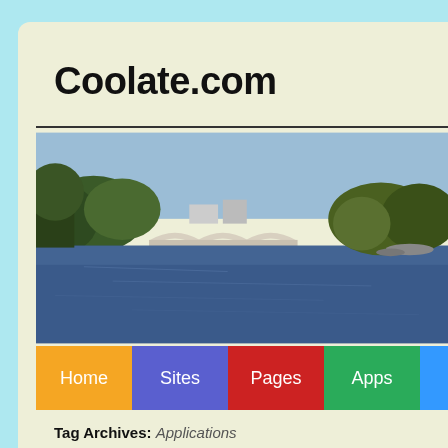Coolate.com
[Figure (photo): Panoramic photo of a river with a stone arch bridge in the middle distance, flanked by trees on both sides under a clear blue sky.]
Home | Sites | Pages | Apps
Tag Archives: Applications
Waterloo tank Assault is now available fo